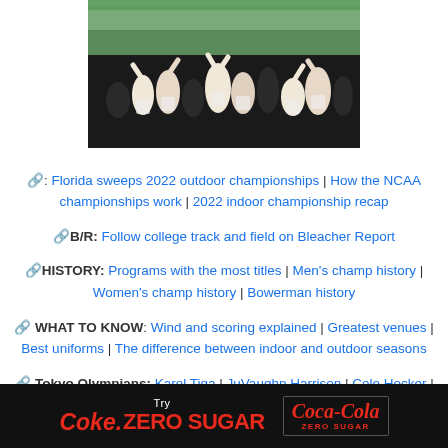[Figure (photo): Crowd of athletes in white t-shirts celebrating at a stadium, likely at a track and field championship celebration]
🔗: Florida sweeps 2022 outdoor championships | How the NCAA championships work | 2022 indoor championship recap
🔗B/R: Follow college track and field on Bleacher Report
🔗HISTORY: Programs with the most titles | Men's champ history | Women's champ history | Bowerman history
🔗 WHAT TO KNOW: Wind and scoring explained | Greatest venues | Best uniforms | The difference between indoor and outdoor seasons
🔗 Tokyo Olympians: Karel Tiga | JuVaughn Harrison | Cole Hocker | Camryn Rogers | Ruth Usoro | Athing Mu | Tara Davis | Tyra Gitten
[Figure (logo): Try Coke Zero Sugar | Coca-Cola Zero Sugar advertisement banner]